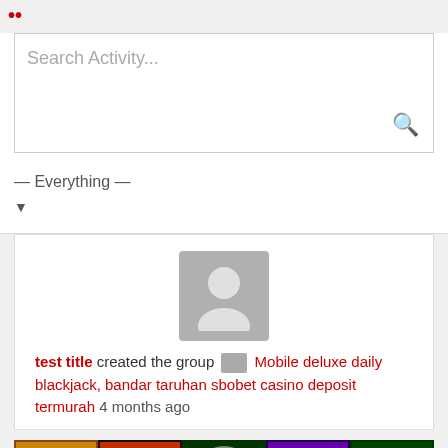••
[Figure (screenshot): Search Activity text box with search icon]
— Everything —
▼
[Figure (screenshot): User avatar placeholder (gray silhouette)]
test title created the group Mobile deluxe daily blackjack, bandar taruhan sbobet casino deposit termurah 4 months ago
[Figure (photo): Casino game thumbnails strip: Book of Gold, Burning Wins, European Roulette, Dragon Pearls, Casino Hold'em]